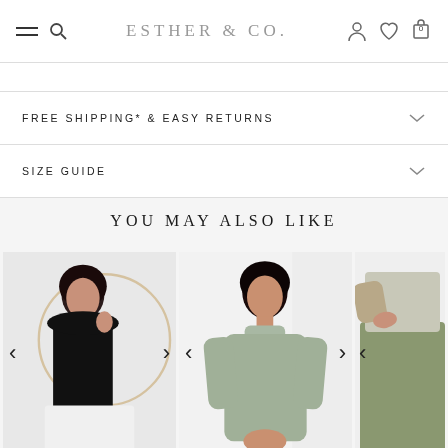ESTHER & CO.
FREE SHIPPING* & EASY RETURNS
SIZE GUIDE
YOU MAY ALSO LIKE
[Figure (photo): Three fashion product photos showing women modeling clothing: first in black turtleneck top, second in sage/grey sweater, third partial view of olive/green outfit. Each photo has left/right navigation arrows.]